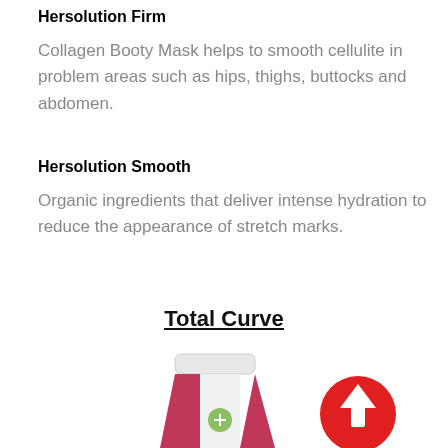Hersolution Firm
Collagen Booty Mask helps to smooth cellulite in problem areas such as hips, thighs, buttocks and abdomen.
Hersolution Smooth
Organic ingredients that deliver intense hydration to reduce the appearance of stretch marks.
Total Curve
[Figure (illustration): Product tube with pink and white design, and a red circle button with upward arrow icon at bottom right]